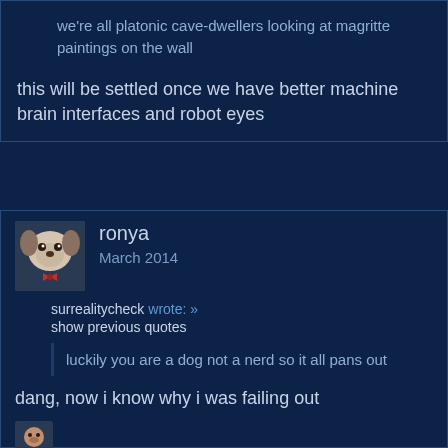we're all platonic cave-dwellers looking at magritte paintings on the wall
this will be settled once we have better machine brain interfaces and robot eyes
ronya
March 2014
surrealitycheck wrote: »
show previous quotes
luckily you are a dog not a nerd so it all pans out
dang, now i know why i was failing out
[Figure (photo): Small avatar of a dog wearing a bow tie]
[Figure (photo): Small avatar image at bottom]